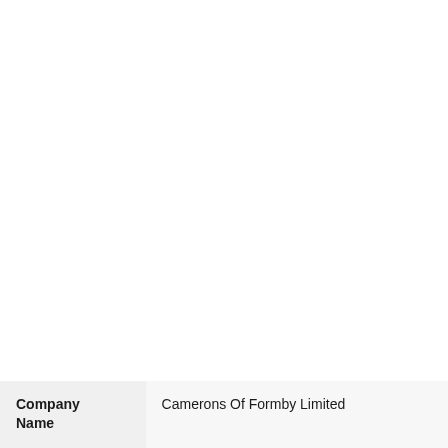| Company Name |  |
| --- | --- |
| Company Name | Camerons Of Formby Limited |